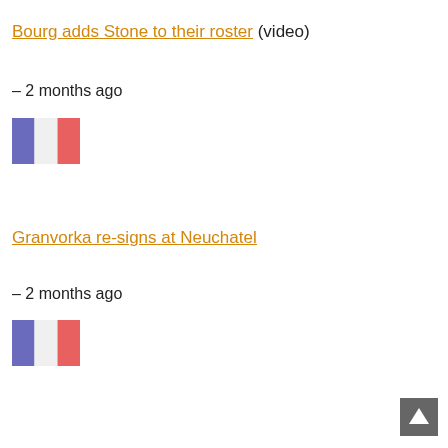Bourg adds Stone to their roster (video)
– 2 months ago
[Figure (illustration): French flag icon]
Granvorka re-signs at Neuchatel
– 2 months ago
[Figure (illustration): French flag icon]
[Figure (illustration): Back to top button with upward arrow]